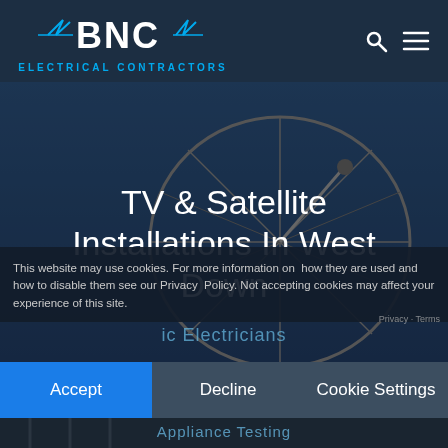[Figure (logo): BNC Electrical Contractors logo with lightning bolt accents in blue and white on dark navy header]
TV & Satellite Installations In West Down
[Figure (photo): Satellite dish against blue sky background]
This website may use cookies. For more information on how they are used and how to disable them see our Privacy Policy. Not accepting cookies may affect your experience of this site.
ic Electricians
Privacy · Terms
Accept
Decline
Cookie Settings
Appliance Testing